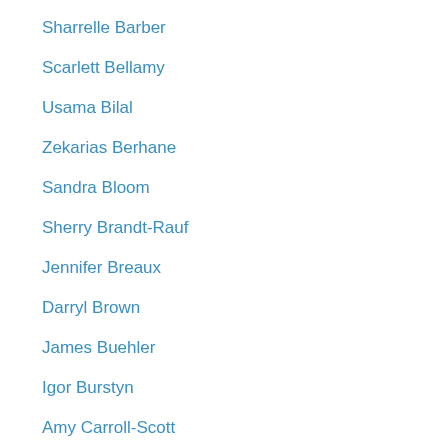Sharrelle Barber
Scarlett Bellamy
Usama Bilal
Zekarias Berhane
Sandra Bloom
Sherry Brandt-Rauf
Jennifer Breaux
Darryl Brown
James Buehler
Igor Burstyn
Amy Carroll-Scott
Esther Chernak
Mariana Chilton
Jane Clougherty
Anneclaire De Roos
Ana Diez Roux
Jan M. Eberth